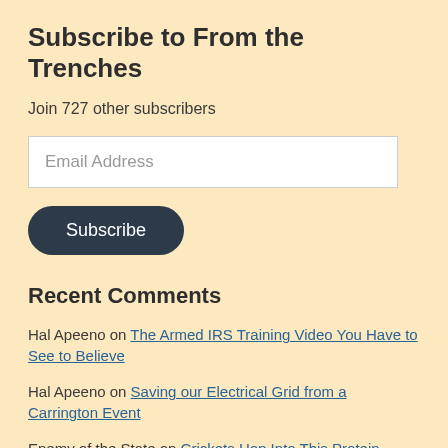Subscribe to From the Trenches
Join 727 other subscribers
Email Address
Subscribe
Recent Comments
Hal Apeeno on The Armed IRS Training Video You Have to See to Believe
Hal Apeeno on Saving our Electrical Grid from a Carrington Event
Enemy of the State on Crickets Hop Into This Protein Powder